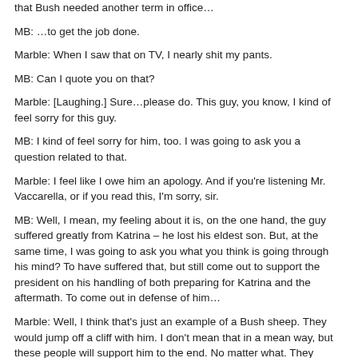that Bush needed another term in office…
MB: …to get the job done.
Marble: When I saw that on TV, I nearly shit my pants.
MB: Can I quote you on that?
Marble: [Laughing.] Sure…please do. This guy, you know, I kind of feel sorry for this guy.
MB: I kind of feel sorry for him, too. I was going to ask you a question related to that.
Marble: I feel like I owe him an apology. And if you're listening Mr. Vaccarella, or if you read this, I'm sorry, sir.
MB: Well, I mean, my feeling about it is, on the one hand, the guy suffered greatly from Katrina – he lost his eldest son. But, at the same time, I was going to ask you what you think is going through his mind? To have suffered that, but still come out to support the president on his handling of both preparing for Katrina and the aftermath. To come out in defense of him…
Marble: Well, I think that's just an example of a Bush sheep. They would jump off a cliff with him. I don't mean that in a mean way, but these people will support him to the end. No matter what. They would…these are like people who would die in the bunker with Hitler, you know? Some people believe Bush can do no wro…